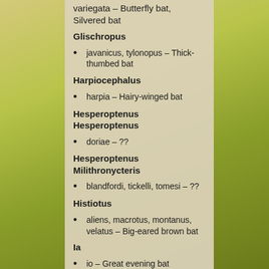variegata – Butterfly bat, Silvered bat
Glischropus
javanicus, tylonopus – Thick-thumbed bat
Harpiocephalus
harpia – Hairy-winged bat
Hesperoptenus Hesperoptenus
doriae – ??
Hesperoptenus Milithronycteris
blandfordi, tickelli, tomesi – ??
Histiotus
aliens, macrotus, montanus, velatus – Big-eared brown bat
Ia
io – Great evening bat
Kerivoula Kerivoula